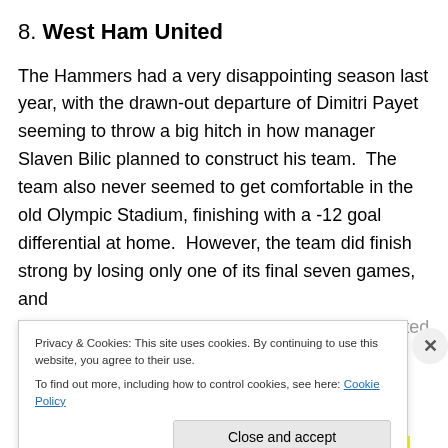8. West Ham United
The Hammers had a very disappointing season last year, with the drawn-out departure of Dimitri Payet seeming to throw a big hitch in how manager Slaven Bilic planned to construct his team.  The team also never seemed to get comfortable in the old Olympic Stadium, finishing with a -12 goal differential at home.  However, the team did finish strong by losing only one of its final seven games, and their few remaining transfer acquisitions contributed in…
Privacy & Cookies: This site uses cookies. By continuing to use this website, you agree to their use.
To find out more, including how to control cookies, see here: Cookie Policy